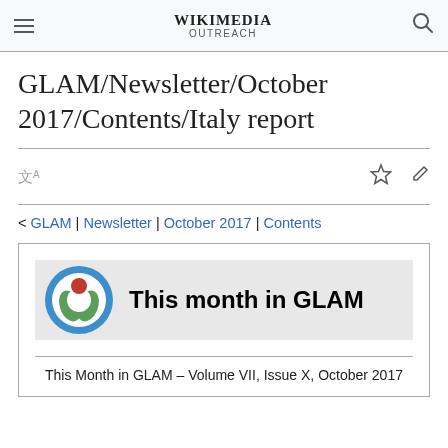WIKIMEDIA OUTREACH
GLAM/Newsletter/October 2017/Contents/Italy report
< GLAM | Newsletter | October 2017 | Contents
[Figure (logo): This month in GLAM banner with Wikimedia logo]
This Month in GLAM – Volume VII, Issue X, October 2017